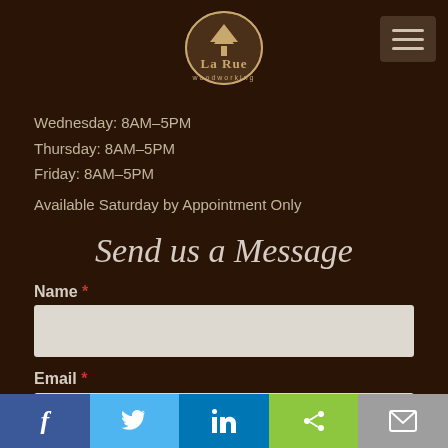[Figure (logo): La Rue Woodworking logo with tree icon]
Wednesday: 8AM–5PM
Thursday: 8AM–5PM
Friday: 8AM–5PM
Available Saturday by Appointment Only
Send us a Message
Name *
Email *
[Figure (infographic): Social media share bar with Facebook, Twitter, LinkedIn, Share, and Email buttons]